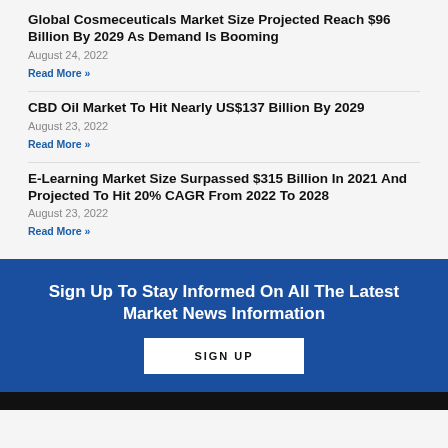Global Cosmeceuticals Market Size Projected Reach $96 Billion By 2029 As Demand Is Booming
August 24, 2022
Read More »
CBD Oil Market To Hit Nearly US$137 Billion By 2029
August 23, 2022
Read More »
E-Learning Market Size Surpassed $315 Billion In 2021 And Projected To Hit 20% CAGR From 2022 To 2028
August 23, 2022
Read More »
Sign Up To Stay Informed On All The Latest Market News Information
SIGN UP